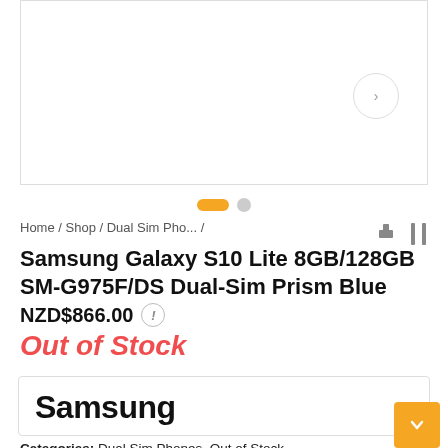[Figure (photo): Product image area for Samsung Galaxy S10 Lite smartphone, white background with a right-arrow navigation button]
Home / Shop / Dual Sim Pho... /
Samsung Galaxy S10 Lite 8GB/128GB SM-G975F/DS Dual-Sim Prism Blue
NZD$866.00
Out of Stock
[Figure (logo): Samsung brand logo in bold black text]
Categories: Dual Sim Phones, Out of Stock